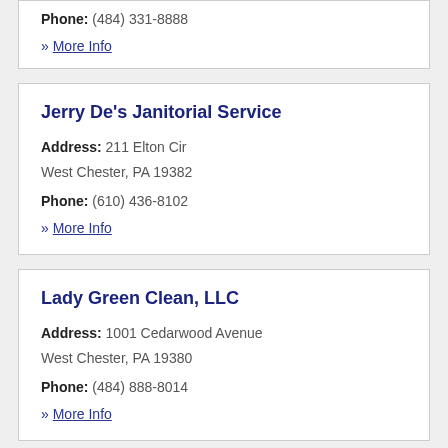Phone: (484) 331-8888
» More Info
Jerry De's Janitorial Service
Address: 211 Elton Cir West Chester, PA 19382
Phone: (610) 436-8102
» More Info
Lady Green Clean, LLC
Address: 1001 Cedarwood Avenue West Chester, PA 19380
Phone: (484) 888-8014
» More Info